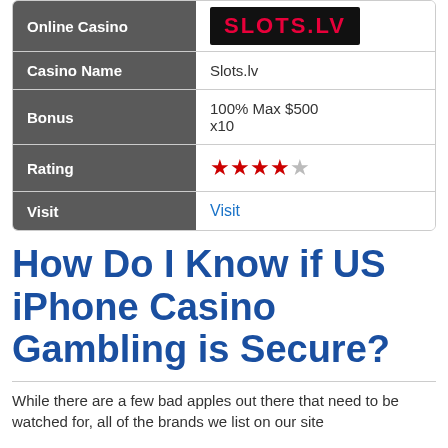|  |  |
| --- | --- |
| Online Casino | [SLOTS.LV logo image] |
| Casino Name | Slots.lv |
| Bonus | 100% Max $500 x10 |
| Rating | 4 out of 5 stars |
| Visit | Visit |
How Do I Know if US iPhone Casino Gambling is Secure?
While there are a few bad apples out there that need to be watched for, all of the brands we list on our site